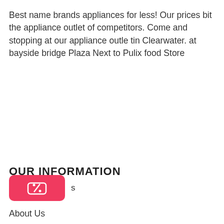Best name brands appliances for less! Our prices bit the appliance outlet of competitors. Come and stopping at our appliance outle tin Clearwater. at bayside bridge Plaza Next to Pulix food Store
OUR INFORMATION
[Figure (other): Red rounded rectangle button with a percent/tag icon (discount coupon button)]
Coupons
About Us